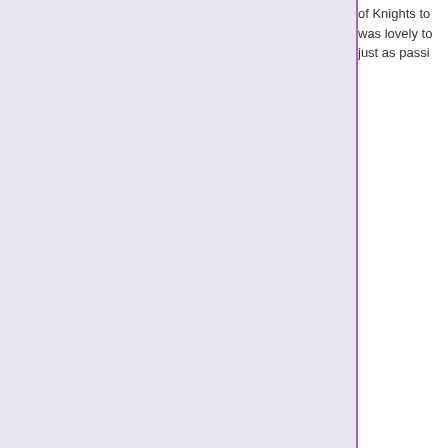of Knights to was lovely to just as passi